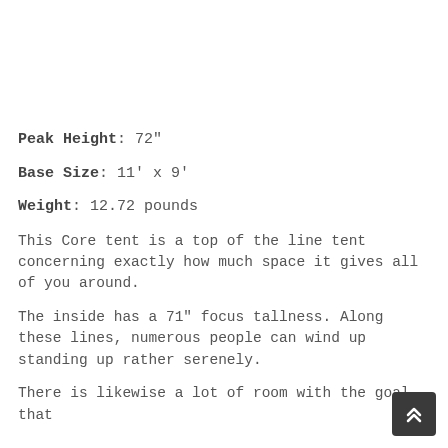Peak Height: 72"
Base Size: 11' x 9'
Weight: 12.72 pounds
This Core tent is a top of the line tent concerning exactly how much space it gives all of you around.
The inside has a 71" focus tallness. Along these lines, numerous people can wind up standing up rather serenely.
There is likewise a lot of room with the goal that